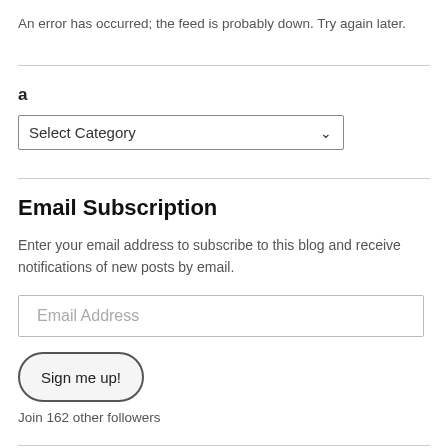An error has occurred; the feed is probably down. Try again later.
a
[Figure (screenshot): A dropdown select element showing 'Select Category' with a chevron arrow on the right.]
Email Subscription
Enter your email address to subscribe to this blog and receive notifications of new posts by email.
[Figure (screenshot): An email address input field placeholder.]
[Figure (screenshot): A pill-shaped button labeled 'Sign me up!']
Join 162 other followers